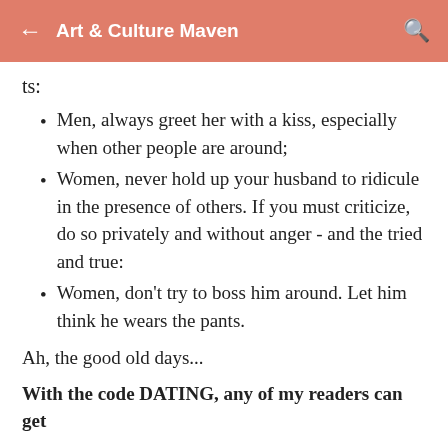Art & Culture Maven
ts:
Men, always greet her with a kiss, especially when other people are around;
Women, never hold up your husband to ridicule in the presence of others. If you must criticize, do so privately and without anger - and the tried and true:
Women, don't try to boss him around. Let him think he wears the pants.
Ah, the good old days...
With the code DATING, any of my readers can get